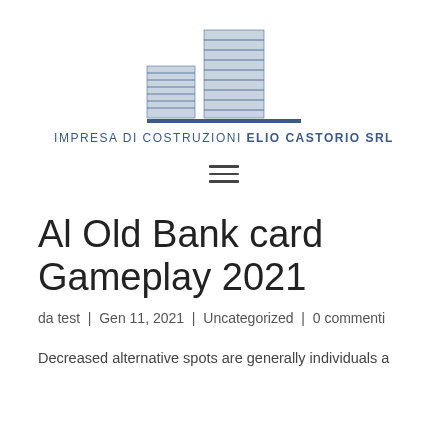[Figure (logo): Impresa di Costruzioni Elio Castorio SRL logo with stylized building graphic and company name below a horizontal bar]
[Figure (other): Hamburger menu icon (three horizontal lines)]
Al Old Bank card Gameplay 2021
da test  |  Gen 11, 2021  |  Uncategorized  |  0 commenti
Decreased alternative spots are generally individuals a